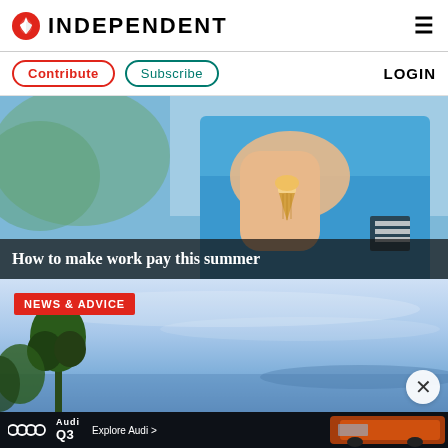INDEPENDENT
Contribute  Subscribe  LOGIN
[Figure (photo): Child in blue t-shirt holding an ice cream cone outdoors with blurred green background]
How to make work pay this summer
NEWS & ADVICE
[Figure (photo): Scenic landscape with blue sky, water, and tree silhouette on left side]
[Figure (photo): Audi Q3 advertisement banner at the bottom of the page with orange/red car]